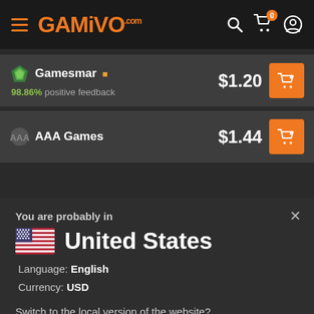GAMIVO.com
Gamesmar  98.86% positive feedback  $1.20
AAA Games  $1.44
You are probably in
United States
Language: English
Currency: USD
Switch to the local version of the website?
YES